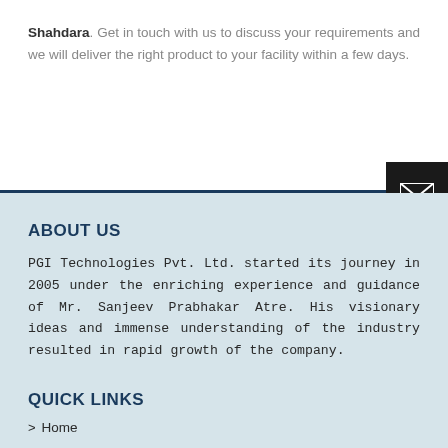Shahdara. Get in touch with us to discuss your requirements and we will deliver the right product to your facility within a few days.
[Figure (other): Black email/envelope icon button on dark background, positioned at right edge near divider line]
ABOUT US
PGI Technologies Pvt. Ltd. started its journey in 2005 under the enriching experience and guidance of Mr. Sanjeev Prabhakar Atre. His visionary ideas and immense understanding of the industry resulted in rapid growth of the company.
QUICK LINKS
> Home